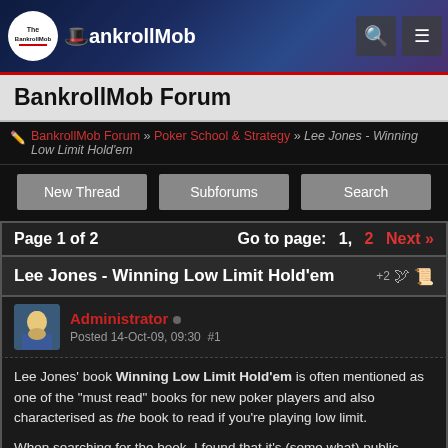The BankrollMob
BankrollMob Forum
BankrollMob Forum » Poker School & Strategy » Lee Jones - Winning Low Limit Hold'em
New Thread | Subforums | Search
Page 1 of 2   Go to page: 1, 2  Next »
Lee Jones - Winning Low Limit Hold'em
Administrator
Posted 14-Oct-09, 09:30  #1
Lee Jones' book Winning Low Limit Hold'em is often mentioned as one of the "must read" books for new poker players and also characterised as the book to read if you're playing low limit.

When searching for the book, I found that it's (some what) public available inside Google Books, so might as well share it with you guys. I recommend that you buy it if you like or it just want to read it more comfortable than on your computer screen.